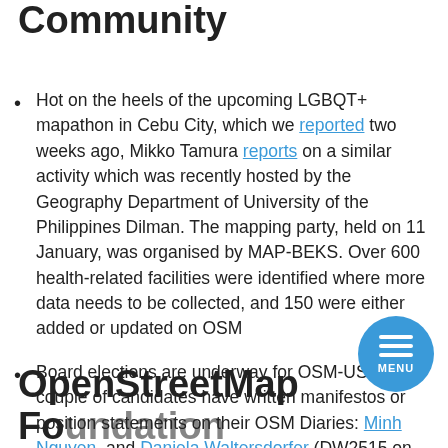Community
Hot on the heels of the upcoming LGBQT+ mapathon in Cebu City, which we reported two weeks ago, Mikko Tamura reports on a similar activity which was recently hosted by the Geography Department of University of the Philippines Dilman. The mapping party, held on 11 January, was organised by MAP-BEKS. Over 600 health-related facilities were identified where more data needs to be collected, and 150 were either added or updated on OSM
Board elections are underway for OSM-US. A couple of candidates have written manifestos or position statements on their OSM Diaries: Minh Nguyen, and Daniela Waltersdorfer (DW2515 on OSM). Others are available via the wiki.
OpenStreetMap Foundation